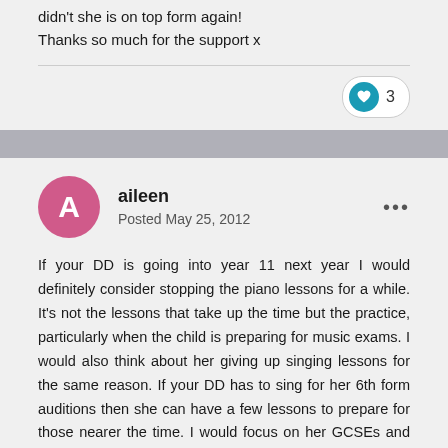didn't she is on top form again!
Thanks so much for the support x
3
aileen
Posted May 25, 2012
If your DD is going into year 11 next year I would definitely consider stopping the piano lessons for a while. It's not the lessons that take up the time but the practice, particularly when the child is preparing for music exams. I would also think about her giving up singing lessons for the same reason. If your DD has to sing for her 6th form auditions then she can have a few lessons to prepare for those nearer the time. I would focus on her GCSEs and her dancing and make sure that she does have some down time and plenty of sleep, if you can. That's my opinion. Others may disagree with me. Btw, plenty of idle children get ill too! Don't beat yourself up about your DD's chest infection